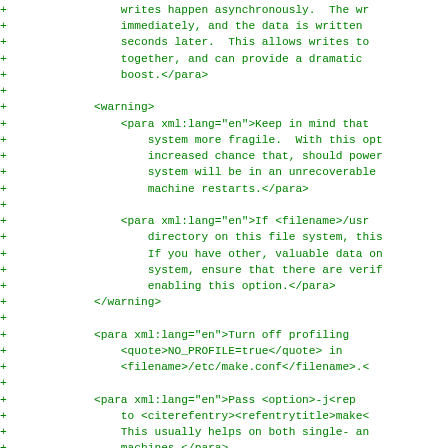Diff/patch view of XML source code showing additions to documentation, including warning elements, para xml:lang elements, filename, quote, and listitem/varlistentry XML tags. Green monospace text with + markers on each line.